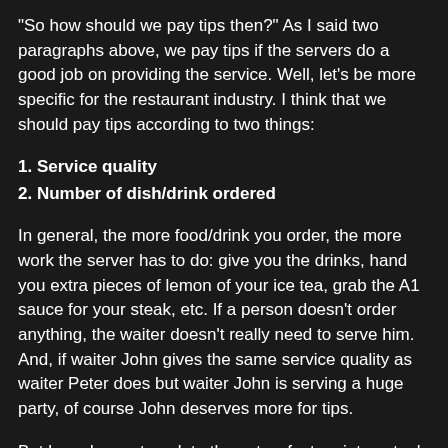"So how should we pay tips then?" As I said two paragraphs above, we pay tips if the servers do a good job on providing the service. Well, let's be more specific for the restaurant industry. I think that we should pay tips according to two things:
1. Service quality
2. Number of dish/drink ordered
In general, the more food/drink you order, the more work the server has to do: give you the drinks, hand you extra pieces of lemon of your ice tea, grab the A1 sauce for your steak, etc. If a person doesn't order anything, the waiter doesn't really need to serve him. And, if waiter John gives the same service quality as waiter Peter does but waiter John is serving a huge party, of course John deserves more for tips.
But how do you translate those two factors into actual tips amount? Hmmm I think a simple way is just to rate the overall service quality as "Excellent", "Satisfactory" or "Bad", and think to yourself how much you will pay if you visit the